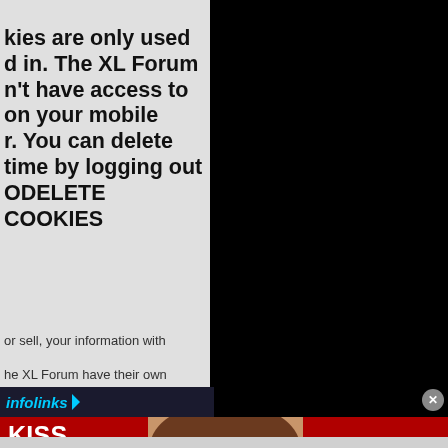kies are only used d in. The XL Forum n't have access to on your mobile r. You can delete time by logging out ODELETE COOKIES
or sell, your information with
he XL Forum have their own
[Figure (screenshot): infolinks ad label bar, dark background with cyan italic 'infolinks' text]
[Figure (screenshot): Macy's advertisement banner with red background. Left side shows bold white text 'KISS BORING LIPS GOODBYE'. Center shows a woman's face with red lips. Right side shows 'SHOP NOW' button and Macy's star logo.]